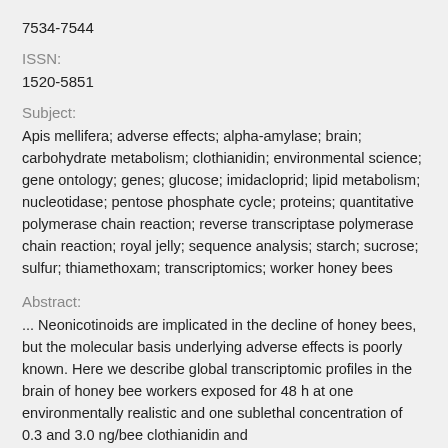7534-7544
ISSN:
1520-5851
Subject:
Apis mellifera; adverse effects; alpha-amylase; brain; carbohydrate metabolism; clothianidin; environmental science; gene ontology; genes; glucose; imidacloprid; lipid metabolism; nucleotidase; pentose phosphate cycle; proteins; quantitative polymerase chain reaction; reverse transcriptase polymerase chain reaction; royal jelly; sequence analysis; starch; sucrose; sulfur; thiamethoxam; transcriptomics; worker honey bees
Abstract:
... Neonicotinoids are implicated in the decline of honey bees, but the molecular basis underlying adverse effects is poorly known. Here we describe global transcriptomic profiles in the brain of honey bee workers exposed for 48 h at one environmentally realistic and one sublethal concentration of 0.3 and 3.0 ng/bee clothianidin and